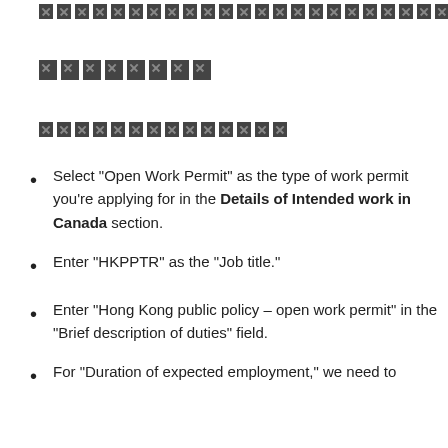[redacted]
[redacted]
[redacted]
Select “Open Work Permit” as the type of work permit you’re applying for in the Details of Intended work in Canada section.
Enter “HKPPTR” as the “Job title.”
Enter “Hong Kong public policy – open work permit” in the “Brief description of duties” field.
For “Duration of expected employment,” we need to [continues below]